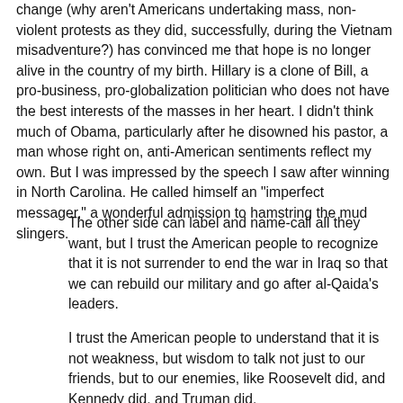change (why aren't Americans undertaking mass, non-violent protests as they did, successfully, during the Vietnam misadventure?) has convinced me that hope is no longer alive in the country of my birth. Hillary is a clone of Bill, a pro-business, pro-globalization politician who does not have the best interests of the masses in her heart. I didn't think much of Obama, particularly after he disowned his pastor, a man whose right on, anti-American sentiments reflect my own. But I was impressed by the speech I saw after winning in North Carolina. He called himself an "imperfect messager," a wonderful admission to hamstring the mud slingers.
The other side can label and name-call all they want, but I trust the American people to recognize that it is not surrender to end the war in Iraq so that we can rebuild our military and go after al-Qaida's leaders.
I trust the American people to understand that it is not weakness, but wisdom to talk not just to our friends, but to our enemies, like Roosevelt did, and Kennedy did, and Truman did.